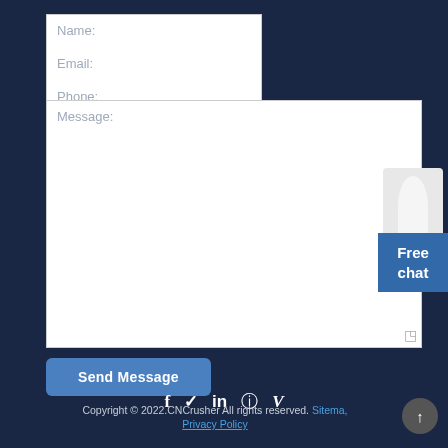Name:
Email:
Phone:
Message:
Send Message
[Figure (other): Social media icons: Facebook (f), Twitter, LinkedIn (in), Instagram, Vimeo (V)]
[Figure (other): Free chat widget with person image and blue box saying Free chat]
Copyright © 2022.CNCrusher All rights reserved. Sitema, Privacy Policy | Terms & Condition